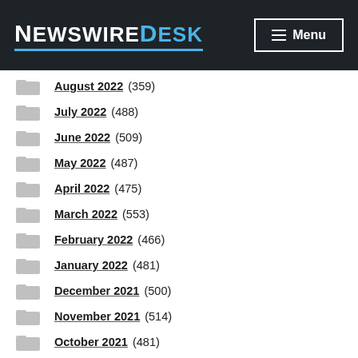NewswireDesk — Menu
August 2022 (359)
July 2022 (488)
June 2022 (509)
May 2022 (487)
April 2022 (475)
March 2022 (553)
February 2022 (466)
January 2022 (481)
December 2021 (500)
November 2021 (514)
October 2021 (481)